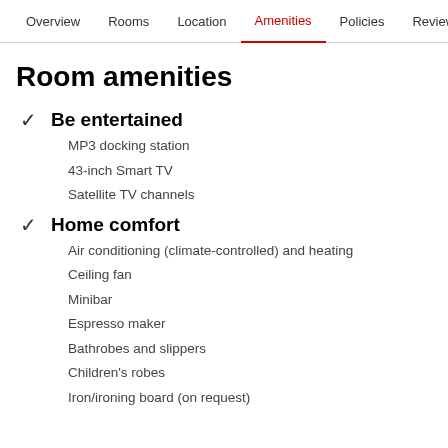Overview  Rooms  Location  Amenities  Policies  Reviews
Room amenities
✓ Be entertained
MP3 docking station
43-inch Smart TV
Satellite TV channels
✓ Home comfort
Air conditioning (climate-controlled) and heating
Ceiling fan
Minibar
Espresso maker
Bathrobes and slippers
Children's robes
Iron/ironing board (on request)